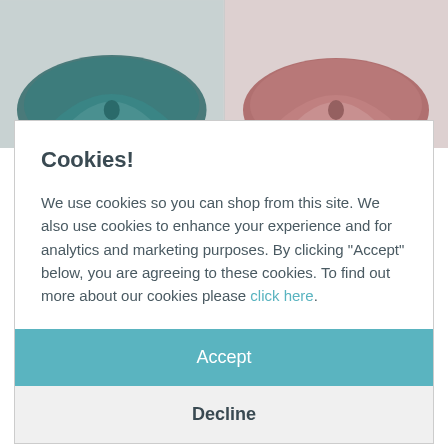[Figure (photo): Two decorative velvet cushions: left cushion is teal/dark green, right cushion is pink/mauve, both photographed from above against a light background]
Cookies!
We use cookies so you can shop from this site. We also use cookies to enhance your experience and for analytics and marketing purposes. By clicking "Accept" below, you are agreeing to these cookies. To find out more about our cookies please click here.
Accept
Decline